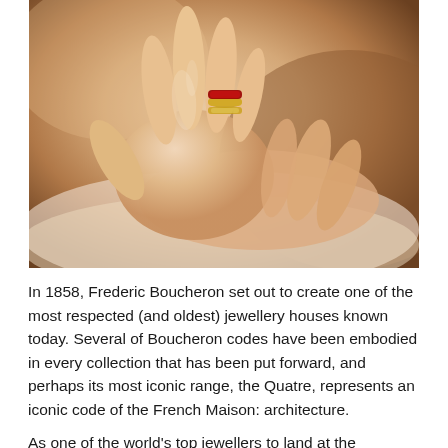[Figure (photo): Close-up photograph of two hands resting together. One hand wears stacked rings on the ring finger, including what appears to be a ruby or red gemstone band and a gold/diamond band — characteristic of the Boucheron Quatre collection.]
In 1858, Frederic Boucheron set out to create one of the most respected (and oldest) jewellery houses known today. Several of Boucheron codes have been embodied in every collection that has been put forward, and perhaps its most iconic range, the Quatre, represents an iconic code of the French Maison: architecture.
As one of the world's top jewellers to land at the legendary Place Vendôme well over a century ago, Boucheron's Quatre collection has become the brand's